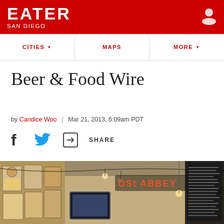EATER SAN DIEGO
CITIES ▾  MAPS  MORE ▾
Beer & Food Wire
by Candice Woo | Mar 21, 2013, 6:09am PDT
[Figure (other): Social sharing icons: Facebook, Twitter, Share]
[Figure (photo): Interior photo of Lost Abbey brewery/taproom showing signage, tap handles, menu board, and industrial ceiling]